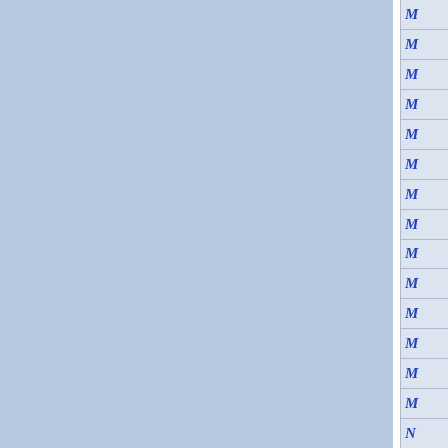[Figure (other): Page with two large blue-gray panel columns separated by a white vertical gap, and a right column containing 15 rows each with a blue italic letter M (or N in the last row).]